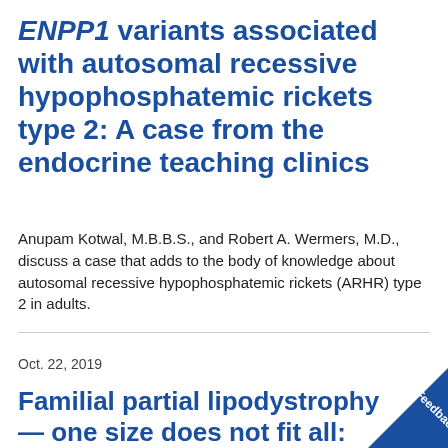ENPP1 variants associated with autosomal recessive hypophosphatemic rickets type 2: A case from the endocrine teaching clinics
Anupam Kotwal, M.B.B.S., and Robert A. Wermers, M.D., discuss a case that adds to the body of knowledge about autosomal recessive hypophosphatemic rickets (ARHR) type 2 in adults.
Oct. 22, 2019
Familial partial lipodystrophy — one size does not fit all: